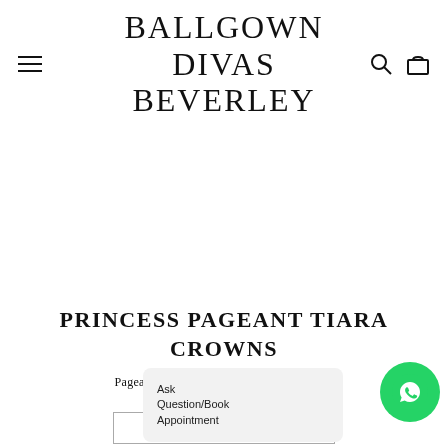BALLGOWN DIVAS BEVERLEY
[Figure (other): White/blank image area below the navigation header — product image placeholder]
PRINCESS PAGEANT TIARA CROWNS
Pageant Tiara Crowns now in st - h gorgeous are the
Ask Question/Book Appointment
[Figure (other): WhatsApp chat button — green circular icon with WhatsApp logo]
TIARAS • THIS WAY >>